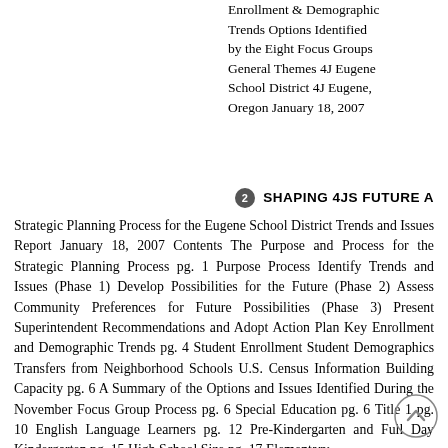Enrollment & Demographic Trends Options Identified by the Eight Focus Groups General Themes 4J Eugene School District 4J Eugene, Oregon January 18, 2007
2 SHAPING 4JS FUTURE A
Strategic Planning Process for the Eugene School District Trends and Issues Report January 18, 2007 Contents The Purpose and Process for the Strategic Planning Process pg. 1 Purpose Process Identify Trends and Issues (Phase 1) Develop Possibilities for the Future (Phase 2) Assess Community Preferences for Future Possibilities (Phase 3) Present Superintendent Recommendations and Adopt Action Plan Key Enrollment and Demographic Trends pg. 4 Student Enrollment Student Demographics Transfers from Neighborhood Schools U.S. Census Information Building Capacity pg. 6 A Summary of the Options and Issues Identified During the November Focus Group Process pg. 6 Special Education pg. 6 Title 1 pg. 10 English Language Learners pg. 12 Pre-Kindergarten and Full Day Kindergarten pg. 15 High School Size pg. 17 Elementary